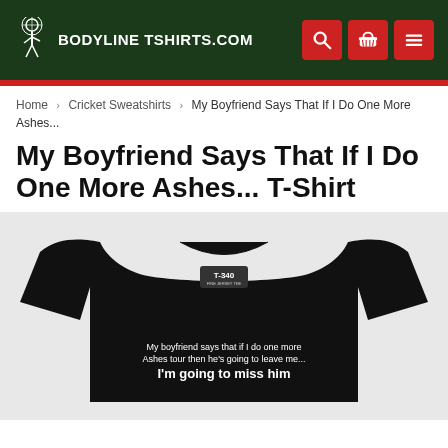Bodyline TShirts.com
Home > Cricket Sweatshirts > My Boyfriend Says That If I Do One More Ashes...
My Boyfriend Says That If I Do One More Ashes... T-Shirt
[Figure (photo): Black t-shirt with white text reading: My boyfriend says that if I do one more Ashes tour then he's going to leave me... I'm going to miss him]